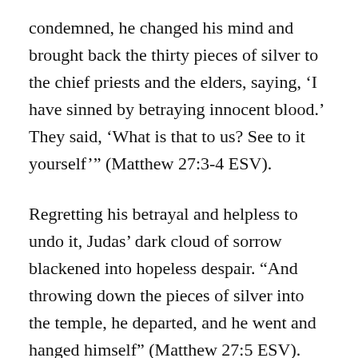condemned, he changed his mind and brought back the thirty pieces of silver to the chief priests and the elders, saying, ‘I have sinned by betraying innocent blood.’ They said, ‘What is that to us? See to it yourself’” (Matthew 27:3-4 ESV).
Regretting his betrayal and helpless to undo it, Judas’ dark cloud of sorrow blackened into hopeless despair. “And throwing down the pieces of silver into the temple, he departed, and he went and hanged himself” (Matthew 27:5 ESV).
That life-changing night Peter, too, felt sorry for what